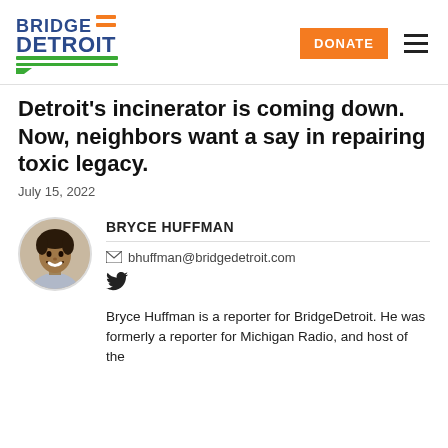Bridge Detroit — DONATE navigation header
Detroit's incinerator is coming down. Now, neighbors want a say in repairing toxic legacy.
July 15, 2022
[Figure (photo): Circular headshot photo of Bryce Huffman, a smiling man with short curly hair, against a light outdoor background.]
BRYCE HUFFMAN
bhuffman@bridgedetroit.com
Bryce Huffman is a reporter for BridgeDetroit. He was formerly a reporter for Michigan Radio, and host of the